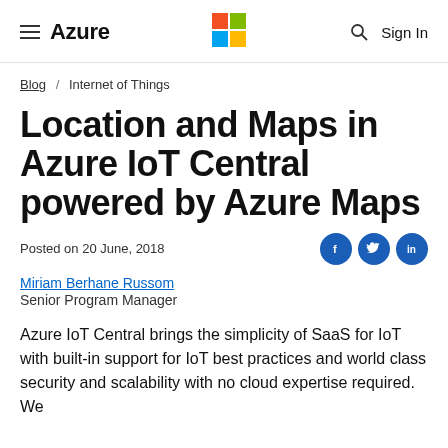Azure
Blog / Internet of Things
Location and Maps in Azure IoT Central powered by Azure Maps
Posted on 20 June, 2018
Miriam Berhane Russom
Senior Program Manager
Azure IoT Central brings the simplicity of SaaS for IoT with built-in support for IoT best practices and world class security and scalability with no cloud expertise required. We